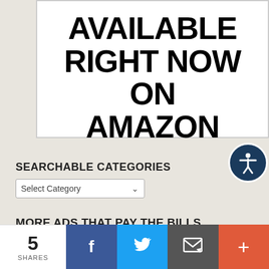[Figure (other): White advertisement box with bold black text reading 'AVAILABLE RIGHT NOW ON AMAZON']
SEARCHABLE CATEGORIES
Select Category
MORE ADS THAT PAY THE BILLS
5 SHARES